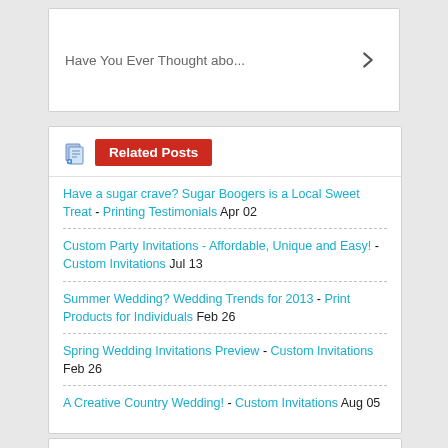Have You Ever Thought abo...
Related Posts
Have a sugar crave? Sugar Boogers is a Local Sweet Treat - Printing Testimonials Apr 02
Custom Party Invitations - Affordable, Unique and Easy! - Custom Invitations Jul 13
Summer Wedding? Wedding Trends for 2013 - Print Products for Individuals Feb 26
Spring Wedding Invitations Preview - Custom Invitations Feb 26
A Creative Country Wedding! - Custom Invitations Aug 05